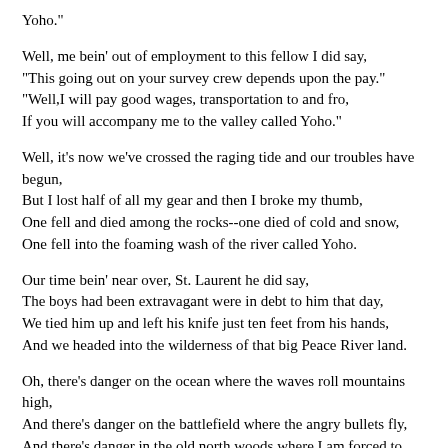Yoho."
Well, me bein' out of employment to this fellow I did say,
"This going out on your survey crew depends upon the pay."
"Well,I will pay good wages, transportation to and fro,
If you will accompany me to the valley called Yoho."
Well, it's now we've crossed the raging tide and our troubles have begun,
But I lost half of all my gear and then I broke my thumb,
One fell and died among the rocks--one died of cold and snow,
One fell into the foaming wash of the river called Yoho.
Our time bein' near over, St. Laurent he did say,
The boys had been extravagant were in debt to him that day,
We tied him up and left his knife just ten feet from his hands,
And we headed into the wilderness of that big Peace River land.
Oh, there's danger on the ocean where the waves roll mountains high,
And there's danger on the battlefield where the angry bullets fly,
And there's danger in the old north woods where I am forced to roam,
'Til folks of worth find peace on Earth, my footsteps crunch the snow.